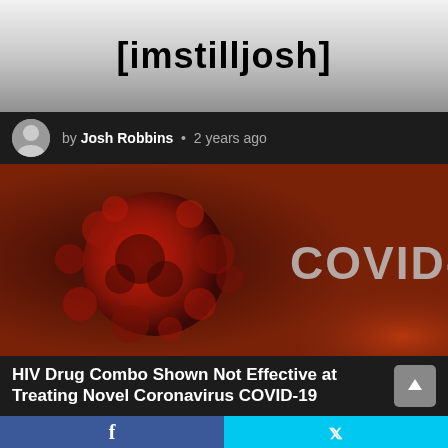[imstilljosh]
by Josh Robbins • 2 years ago
[Figure (photo): Dark red/brown background image of a coronavirus particle on the left side with the text COVID-19 in large gray letters on the right side]
HIV Drug Combo Shown Not Effective at Treating Novel Coronavirus COVID-19
f
y